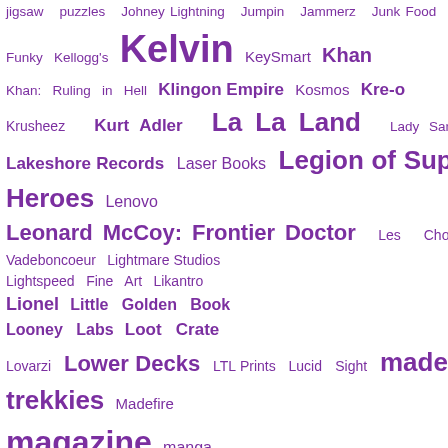jigsaw puzzles Johney Lightning Jumpin Jammerz Junk Food Just Funky Kellogg's Kelvin KeySmart Khan Khan: Ruling in Hell Klingon Empire Kosmos Kre-o Krusheez Kurt Adler La La Land Lady Sandra Lakeshore Records Laser Books Legion of Super-Heroes Lenovo Leonard McCoy: Frontier Doctor Les Chocolats Vadeboncoeur Lightmare Studios Lightspeed Fine Art Likantro Lionel Little Golden Book Looney Labs Loot Crate Lovarzi Lower Decks LTL Prints Lucid Sight made by trekkies Madefire magazine manga Manifest Destiny Marvel Maskarade Massive Audio Master Replicas Masterpiece
[Figure (screenshot): Follow social media icons row: Facebook, Twitter, Instagram, Pinterest]
From Mego, Galoobs predecess at Toy Fair.
[Figure (photo): Book or magazine cover partially visible, showing ST HEA text]
[Figure (other): Support me Ko-fi button]
[Figure (other): Share buttons: Twitter, Pinterest, Tumblr, Email]
SHARES